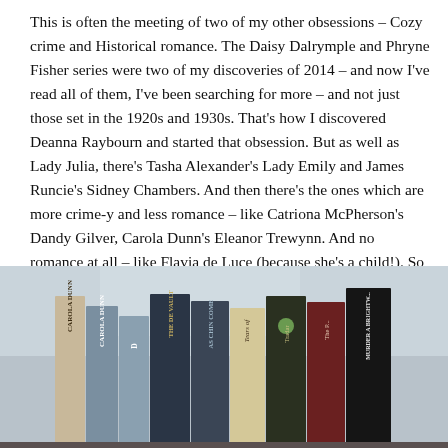This is often the meeting of two of my other obsessions – Cozy crime and Historical romance.  The Daisy Dalrymple and Phryne Fisher series were two of my discoveries of 2014 – and now I've read all of them, I've been searching for more – and not just those set in the 1920s and 1930s.  That's how I discovered Deanna Raybourn and started that obsession.  But as well as Lady Julia, there's Tasha Alexander's Lady Emily and James Runcie's Sidney Chambers. And then there's the ones which are more crime-y and less romance – like Catriona McPherson's Dandy Gilver, Carola Dunn's Eleanor Trewynn.  And no romance at all – like Flavia de Luce (because she's a child!). So many good books.
[Figure (photo): A row of books standing upright showing their spines, including works by Carola Dunn and others, photographed from the front.]